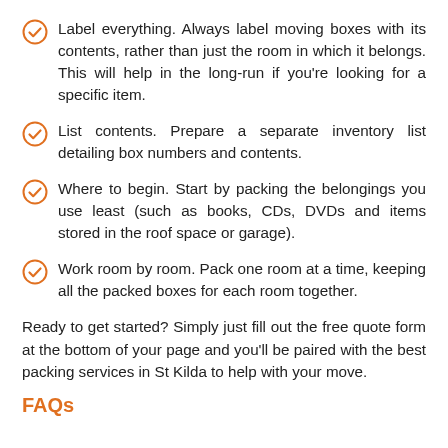Label everything. Always label moving boxes with its contents, rather than just the room in which it belongs. This will help in the long-run if you're looking for a specific item.
List contents. Prepare a separate inventory list detailing box numbers and contents.
Where to begin. Start by packing the belongings you use least (such as books, CDs, DVDs and items stored in the roof space or garage).
Work room by room. Pack one room at a time, keeping all the packed boxes for each room together.
Ready to get started? Simply just fill out the free quote form at the bottom of your page and you'll be paired with the best packing services in St Kilda to help with your move.
FAQs